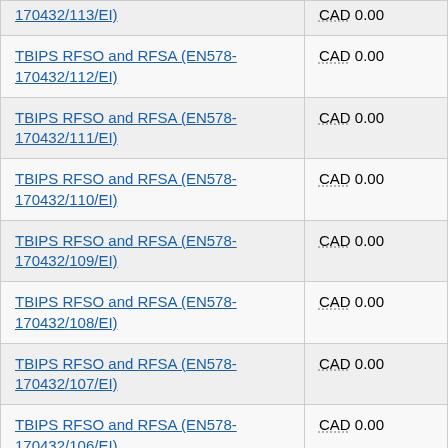| Contract | Amount |
| --- | --- |
| TBIPS RFSO and RFSA (EN578-170432/113/EI) | CAD 0.00 |
| TBIPS RFSO and RFSA (EN578-170432/112/EI) | CAD 0.00 |
| TBIPS RFSO and RFSA (EN578-170432/111/EI) | CAD 0.00 |
| TBIPS RFSO and RFSA (EN578-170432/110/EI) | CAD 0.00 |
| TBIPS RFSO and RFSA (EN578-170432/109/EI) | CAD 0.00 |
| TBIPS RFSO and RFSA (EN578-170432/108/EI) | CAD 0.00 |
| TBIPS RFSO and RFSA (EN578-170432/107/EI) | CAD 0.00 |
| TBIPS RFSO and RFSA (EN578-170432/106/EI) | CAD 0.00 |
| TBIPS RFSO and RFSA (EN578-170432/105/EI) | CAD 0.00 |
| TBIPS RFSO and RFSA (EN578-...) | CAD 0.00 |